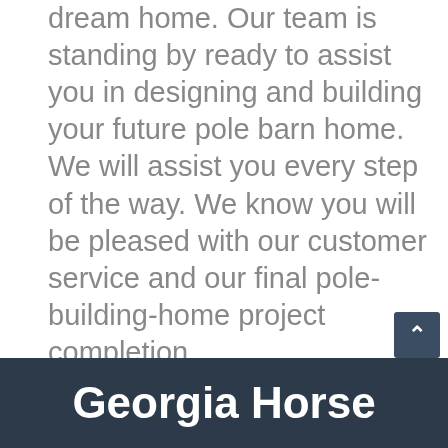dream home. Our team is standing by ready to assist you in designing and building your future pole barn home. We will assist you every step of the way. We know you will be pleased with our customer service and our final pole-building-home project completion.
Georgia Horse